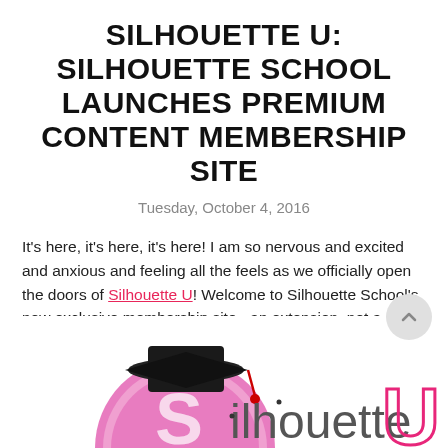SILHOUETTE U: SILHOUETTE SCHOOL LAUNCHES PREMIUM CONTENT MEMBERSHIP SITE
Tuesday, October 4, 2016
It's here, it's here, it's here! I am so nervous and excited and anxious and feeling all the feels as we officially open the doors of Silhouette U! Welcome to Silhouette School's new exclusive membership site - an extension, not a replacement for Silhouette School blog (can't stress that enough)!!! If you're looking for the best online Silhouette CAMEO classes and video tutorials, you found it!
[Figure (logo): Silhouette U logo with graduation cap on a pink circular badge and stylized 'Silhouette U' text in pink]